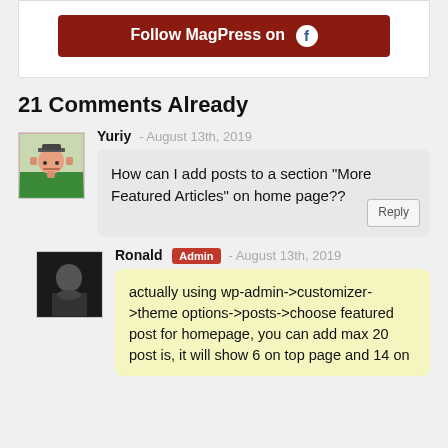[Figure (other): Red/dark-red button reading 'Follow MagPress on' with a Facebook circle icon]
21 Comments Already
[Figure (illustration): Avatar image for user Yuriy - cartoon pink gear character on green background]
Yuriy - August 13th, 2019
How can I add posts to a section “More Featured Articles” on home page??
[Figure (photo): Avatar image for Ronald admin - dark photo]
Ronald Admin - August 13th, 2019
actually using wp-admin->customizer->theme options->posts->choose featured post for homepage, you can add max 20 post is, it will show 6 on top page and 14 on